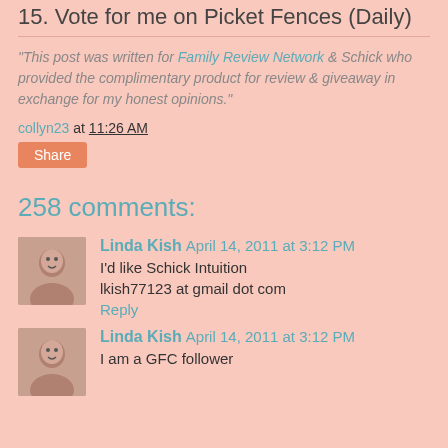15. Vote for me on Picket Fences (Daily)
"This post was written for Family Review Network & Schick who provided the complimentary product for review & giveaway in exchange for my honest opinions."
collyn23 at 11:26 AM
Share
258 comments:
Linda Kish April 14, 2011 at 3:12 PM
I'd like Schick Intuition
lkish77123 at gmail dot com
Reply
Linda Kish April 14, 2011 at 3:12 PM
I am a GFC follower